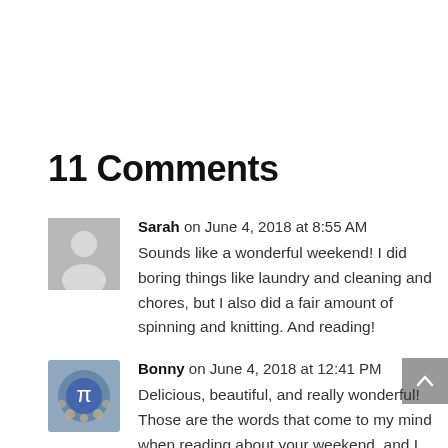11 Comments
Sarah on June 4, 2018 at 8:55 AM
Sounds like a wonderful weekend! I did boring things like laundry and cleaning and chores, but I also did a fair amount of spinning and knitting. And reading!
Bonny on June 4, 2018 at 12:41 PM
Delicious, beautiful, and really wonderful! Those are the words that come to my mind when reading about your weekend, and I hope